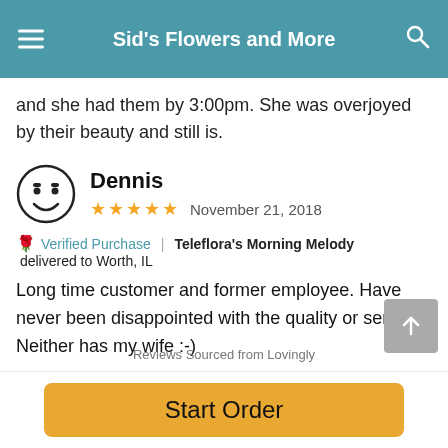Sid's Flowers and More
and she had them by 3:00pm. She was overjoyed by their beauty and still is.
Dennis
★★★★★  November 21, 2018
🌹 Verified Purchase | Teleflora's Morning Melody delivered to Worth, IL
Long time customer and former employee. Have never been disappointed with the quality or service!! Neither has my wife :-)
Reviews Sourced from Lovingly
Start Order